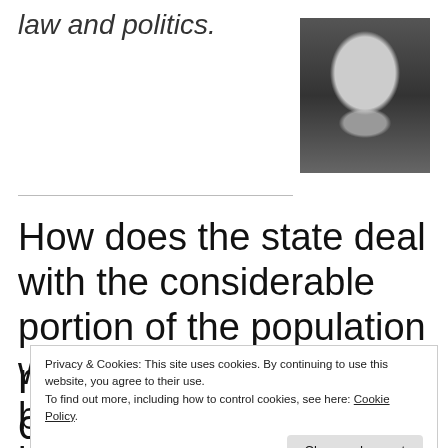law and politics.
[Figure (photo): Black and white portrait photo of a man in a leather jacket]
How does the state deal with the considerable portion of the population whose practises, beliefs, identities and belongings
Privacy & Cookies: This site uses cookies. By continuing to use this website, you agree to their use.
To find out more, including how to control cookies, see here: Cookie Policy
Close and accept
religious, social and cultural